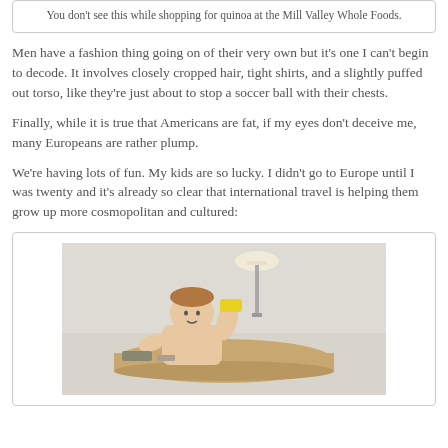You don't see this while shopping for quinoa at the Mill Valley Whole Foods.
Men have a fashion thing going on of their very own but it's one I can't begin to decode. It involves closely cropped hair, tight shirts, and a slightly puffed out torso, like they're just about to stop a soccer ball with their chests.
Finally, while it is true that Americans are fat, if my eyes don't deceive me, many Europeans are rather plump.
We're having lots of fun. My kids are so lucky. I didn't go to Europe until I was twenty and it's already so clear that international travel is helping them grow up more cosmopolitan and cultured:
[Figure (photo): A child at a round table in a hotel room, holding up a small yellow object, with a lamp and white wall in the background.]